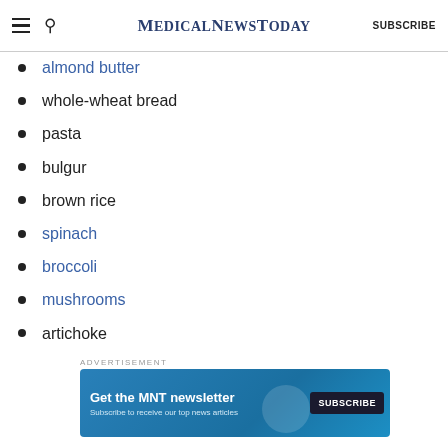MedicalNewsToday  SUBSCRIBE
almond butter
whole-wheat bread
pasta
bulgur
brown rice
spinach
broccoli
mushrooms
artichoke
oatmeal
[Figure (infographic): MNT newsletter advertisement banner: 'Get the MNT newsletter – Subscribe to receive our top news articles' with a SUBSCRIBE button on a blue background.]